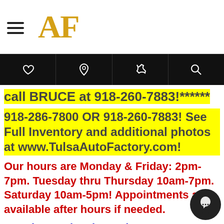AF
call BRUCE at 918-260-7883!******
918-286-7800 OR 918-260-7883! See Full Inventory and additional photos at www.TulsaAutoFactory.com!
Our hours are Monday & Friday: 2pm-7pm. Tuesday thru Thursday 10am-7pm. Saturday 10am-5pm! Appointments are available after hours if needed.
Stop by anytime but to best serve you, please call us in advance and let us know when you are coming so